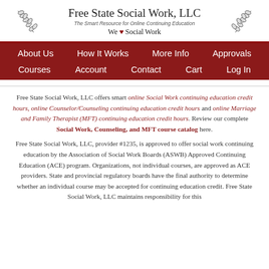Free State Social Work, LLC
The Smart Resource for Online Continuing Education
We ♥ Social Work
[Figure (illustration): Wheat/grain decorative illustration on left side of header]
[Figure (illustration): Wheat/grain decorative illustration on right side of header]
About Us  How It Works  More Info  Approvals  Courses  Account  Contact  Cart  Log In
Free State Social Work, LLC offers smart online Social Work continuing education credit hours, online Counselor/Counseling continuing education credit hours and online Marriage and Family Therapist (MFT) continuing education credit hours. Review our complete Social Work, Counseling, and MFT course catalog here.
Free State Social Work, LLC, provider #1235, is approved to offer social work continuing education by the Association of Social Work Boards (ASWB) Approved Continuing Education (ACE) program. Organizations, not individual courses, are approved as ACE providers. State and provincial regulatory boards have the final authority to determine whether an individual course may be accepted for continuing education credit. Free State Social Work, LLC maintains responsibility for this course. ACE provider approval period: 9/6/2021 – 9/6/2024